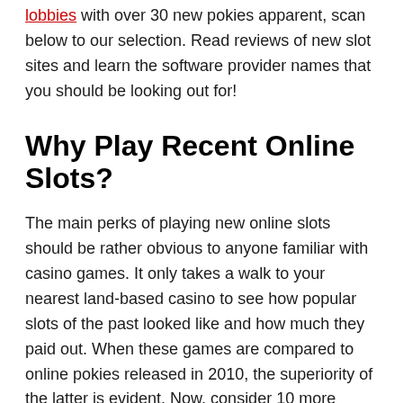lobbies with over 30 new pokies apparent, scan below to our selection. Read reviews of new slot sites and learn the software provider names that you should be looking out for!
Why Play Recent Online Slots?
The main perks of playing new online slots should be rather obvious to anyone familiar with casino games. It only takes a walk to your nearest land-based casino to see how popular slots of the past looked like and how much they paid out. When these games are compared to online pokies released in 2010, the superiority of the latter is evident. Now, consider 10 more years of technological advancements and the input of 200 real money online slots providers to comprehend how advanced new pokies are. The main benefits of playing new online slots are summed